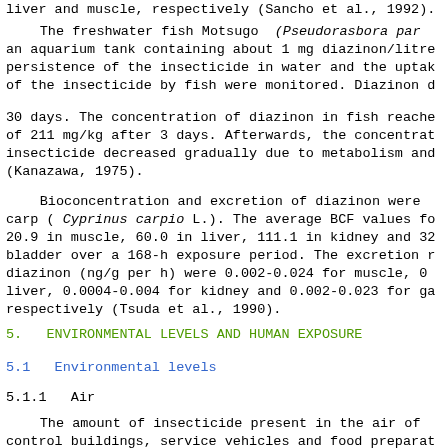liver and muscle, respectively (Sancho et al., 1992).
The freshwater fish Motsugo (Pseudorasbora parva) was placed in an aquarium tank containing about 1 mg diazinon/litre of water. The persistence of the insecticide in water and the uptake of the insecticide by fish were monitored. Diazinon disappeared within 30 days. The concentration of diazinon in fish reached a maximum of 211 mg/kg after 3 days. Afterwards, the concentration of the insecticide decreased gradually due to metabolism and excretion (Kanazawa, 1975).
Bioconcentration and excretion of diazinon were studied in carp ( Cyprinus carpio L.). The average BCF values for diazinon were 20.9 in muscle, 60.0 in liver, 111.1 in kidney and 32.3 in gall bladder over a 168-h exposure period. The excretion rates of diazinon (ng/g per h) were 0.002-0.024 for muscle, 0.004-0.008 for liver, 0.0004-0.004 for kidney and 0.002-0.023 for gall bladder, respectively (Tsuda et al., 1990).
5.  ENVIRONMENTAL LEVELS AND HUMAN EXPOSURE
5.1  Environmental levels
5.1.1  Air
The amount of insecticide present in the air of pest control buildings, service vehicles and food preparation areas following routine commercial insecticide applications was measured. Diazinon was measured in the ambient air of office rooms in six North Carolina (USA) firms in a